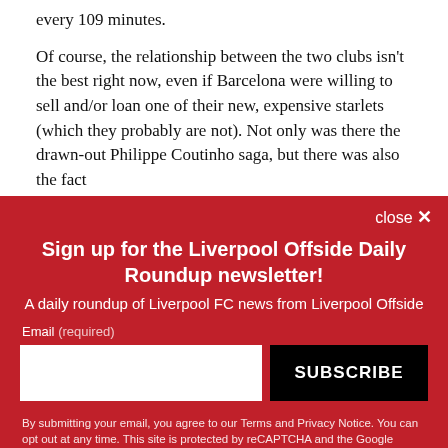every 109 minutes.
Of course, the relationship between the two clubs isn't the best right now, even if Barcelona were willing to sell and/or loan one of their new, expensive starlets (which they probably are not). Not only was there the drawn-out Philippe Coutinho saga, but there was also the fact
close ✕
Sign up for the Liverpool Offside Daily Roundup newsletter!
A daily roundup of Liverpool FC news from Liverpool Offside
Email (required)
SUBSCRIBE
By submitting your email, you agree to our Terms and Privacy Notice. You can opt out at any time. This site is protected by reCAPTCHA and the Google Privacy Policy and Terms of Service apply.